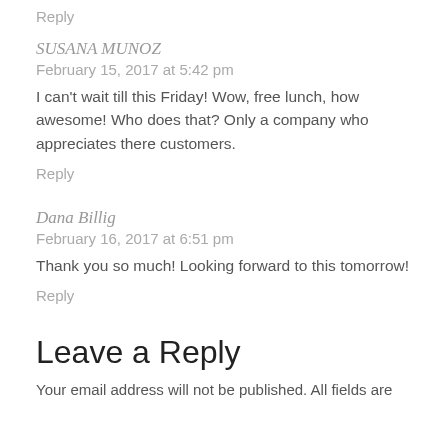Reply
SUSANA MUNOZ
February 15, 2017 at 5:42 pm
I can't wait till this Friday! Wow, free lunch, how awesome! Who does that? Only a company who appreciates there customers.
Reply
Dana Billig
February 16, 2017 at 6:51 pm
Thank you so much! Looking forward to this tomorrow!
Reply
Leave a Reply
Your email address will not be published. All fields are